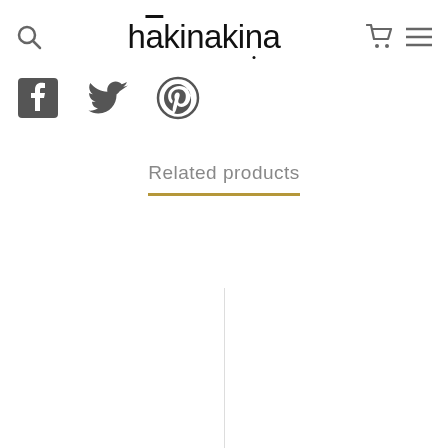hākinakına
[Figure (logo): Social share icons: Facebook, Twitter, Pinterest]
Related products
[Figure (other): Two product image placeholder cells side by side]